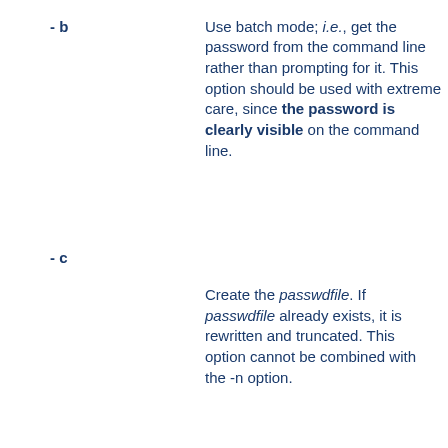-b  Use batch mode; i.e., get the password from the command line rather than prompting for it. This option should be used with extreme care, since the password is clearly visible on the command line.
-c  Create the passwdfile. If passwdfile already exists, it is rewritten and truncated. This option cannot be combined with the -n option.